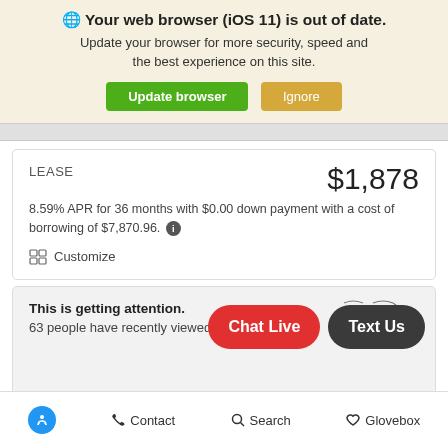🌐 Your web browser (iOS 11) is out of date.
Update your browser for more security, speed and the best experience on this site.
LEASE    $1,878
8.59% APR for 36 months with $0.00 down payment with a cost of borrowing of $7,870.96.
Customize
This is getting attention.
63 people have recently viewed it.
Contact   Search   Glovebox